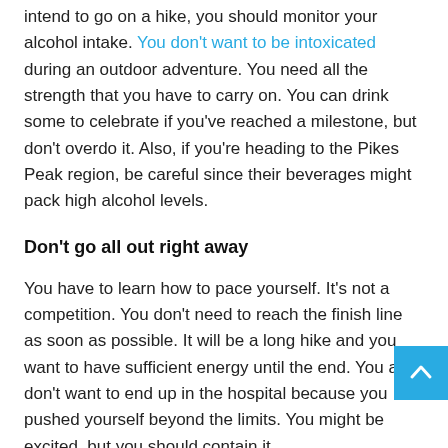intend to go on a hike, you should monitor your alcohol intake. You don't want to be intoxicated during an outdoor adventure. You need all the strength that you have to carry on. You can drink some to celebrate if you've reached a milestone, but don't overdo it. Also, if you're heading to the Pikes Peak region, be careful since their beverages might pack high alcohol levels.
Don't go all out right away
You have to learn how to pace yourself. It's not a competition. You don't need to reach the finish line as soon as possible. It will be a long hike and you want to have sufficient energy until the end. You also don't want to end up in the hospital because you pushed yourself beyond the limits. You might be excited, but you should contain it.
Watch your food intake
You might be too excited when you head out to eat since there are plenty of choices. The area is a tourist destination